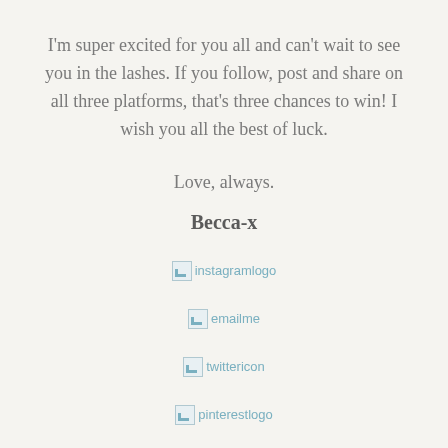I'm super excited for you all and can't wait to see you in the lashes. If you follow, post and share on all three platforms, that's three chances to win! I wish you all the best of luck.
Love, always.
Becca-x
[Figure (logo): Instagram logo image (broken image placeholder with alt text 'instagramlogo')]
[Figure (logo): Email me image (broken image placeholder with alt text 'emailme')]
[Figure (logo): Twitter icon image (broken image placeholder with alt text 'twittericon')]
[Figure (logo): Pinterest logo image (broken image placeholder with alt text 'pinterestlogo')]